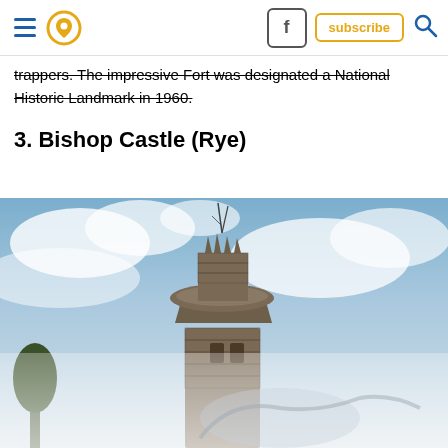Navigation bar with hamburger menu, location pin, Facebook button, subscribe button, search icon
trappers. The impressive Fort was designated a National Historic Landmark in 1960.
3. Bishop Castle (Rye)
[Figure (photo): Photo of Bishop Castle tower, a stone structure rising into a partly cloudy blue sky, with ornate metalwork at the top. The bottom portion shows a faded/ghosted dragon sculpture figure overlaid with a semi-transparent white advertisement strip.]